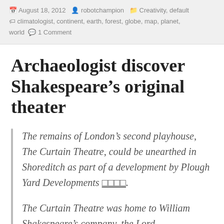August 18, 2012  robotchampion  Creativity, default  climatologist, continent, earth, forest, globe, map, planet, world  1 Comment
Archaeologist discover Shakespeare’s original theater
The remains of London’s second playhouse, The Curtain Theatre, could be unearthed in Shoreditch as part of a development by Plough Yard Developments □□□□.
The Curtain Theatre was home to William Shakespeare’s company, the Lord